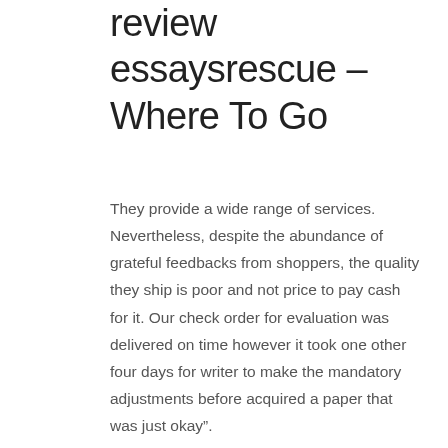review essaysrescue – Where To Go
They provide a wide range of services. Nevertheless, despite the abundance of grateful feedbacks from shoppers, the quality they ship is poor and not price to pay cash for it. Our check order for evaluation was delivered on time however it took one other four days for writer to make the mandatory adjustments before acquired a paper that was just okay”.
Typically a subject you’re finding out may be extra attention-grabbing than you previously thought. It can be a